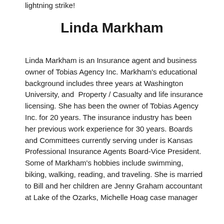lightning strike!
Linda Markham
Linda Markham is an Insurance agent and business owner of Tobias Agency Inc. Markham's educational background includes three years at Washington University, and Property / Casualty and life insurance licensing. She has been the owner of Tobias Agency Inc. for 20 years. The insurance industry has been her previous work experience for 30 years. Boards and Committees currently serving under is Kansas Professional Insurance Agents Board-Vice President. Some of Markham's hobbies include swimming, biking, walking, reading, and traveling. She is married to Bill and her children are Jenny Graham accountant at Lake of the Ozarks, Michelle Hoag case manager